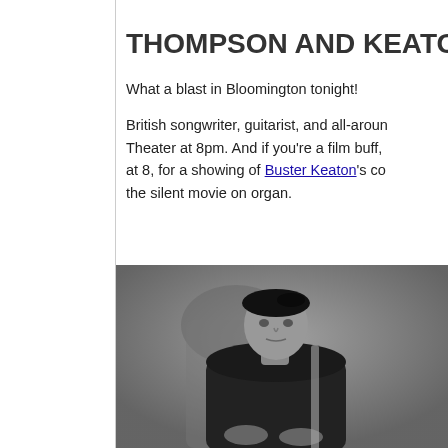THOMPSON AND KEATO
What a blast in Bloomington tonight!

British songwriter, guitarist, and all-aroun Theater at 8pm. And if you're a film buff, at 8, for a showing of Buster Keaton's co the silent movie on organ.
[Figure (photo): Black and white photograph of a man wearing a black beret and black leather jacket, seated in a tufted chair, looking at the camera]